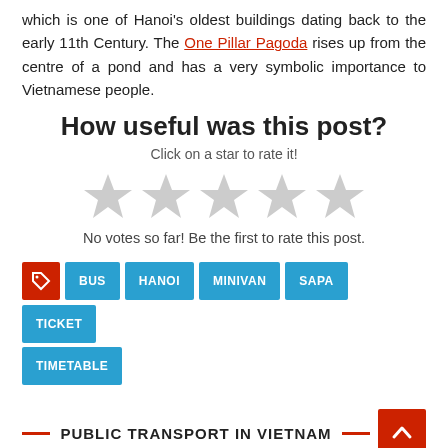which is one of Hanoi's oldest buildings dating back to the early 11th Century. The One Pillar Pagoda rises up from the centre of a pond and has a very symbolic importance to Vietnamese people.
How useful was this post?
Click on a star to rate it!
[Figure (other): Five empty grey star rating icons]
No votes so far! Be the first to rate this post.
BUS HANOI MINIVAN SAPA TICKET TIMETABLE (tag buttons)
PUBLIC TRANSPORT IN VIETNAM